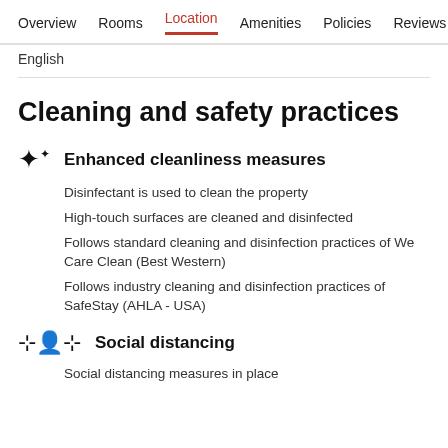Overview  Rooms  Location  Amenities  Policies  Reviews
English
Cleaning and safety practices
Enhanced cleanliness measures
Disinfectant is used to clean the property
High-touch surfaces are cleaned and disinfected
Follows standard cleaning and disinfection practices of We Care Clean (Best Western)
Follows industry cleaning and disinfection practices of SafeStay (AHLA - USA)
Social distancing
Social distancing measures in place